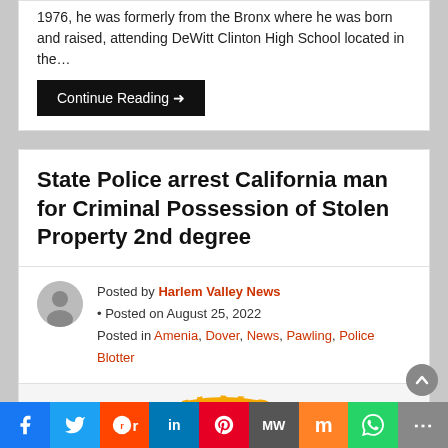1976, he was formerly from the Bronx where he was born and raised, attending DeWitt Clinton High School located in the…
Continue Reading →
State Police arrest California man for Criminal Possession of Stolen Property 2nd degree
Posted by Harlem Valley News • Posted on August 25, 2022
Posted in Amenia, Dover, News, Pawling, Police Blotter
[Figure (logo): New York State Police seal/badge, circular emblem with blue background, gold text 'NEW YORK', and eagle in center]
f  Twitter  Reddit  in  Pinterest  MW  Mix  WhatsApp  Share